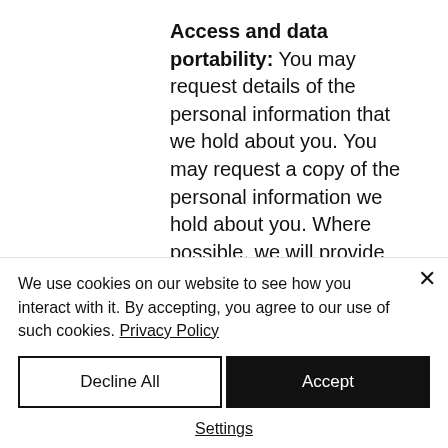Access and data portability: You may request details of the personal information that we hold about you. You may request a copy of the personal information we hold about you. Where possible, we will provide this information in CSV format or other easily readable machine format. You may request that we erase the personal information we hold about you at any time. You may also request that we transfer this personal information to another third
We use cookies on our website to see how you interact with it. By accepting, you agree to our use of such cookies. Privacy Policy
Decline All
Accept
Settings